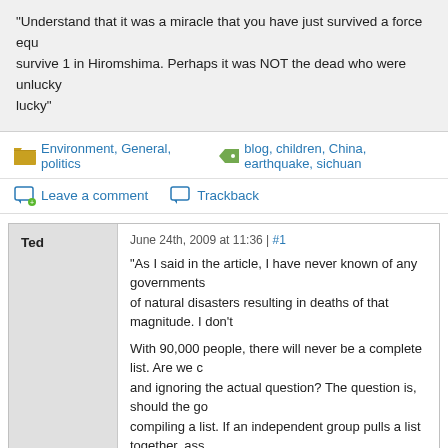“Understand that it was a miracle that you have just survived a force equ survive 1 in Hiromshima. Perhaps it was NOT the dead who were unlucky lucky”
Environment, General, politics   blog, children, China, earthquake, sichuan
Leave a comment   Trackback
Ted   June 24th, 2009 at 11:36 | #1
“As I said in the article, I have never known of any governments of natural disasters resulting in deaths of that magnitude. I don’t
With 90,000 people, there will never be a complete list. Are we c and ignoring the actual question? The question is, should the go compiling a list. If an independent group pulls a list together, ass release, should the government PREVENT the group from relea
“No, that is not true. No parents have ever been denied the cha been playing a central and indispensible role in the long road of spiritually. Mourning has always been encouraged, protests are
Parents were prohibited from mourning at the site of their childre
June 24th, 2009 at 12:14 | #2